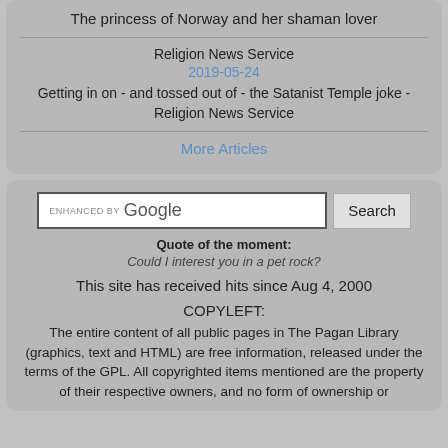The princess of Norway and her shaman lover
Religion News Service
2019-05-24
Getting in on - and tossed out of - the Satanist Temple joke - Religion News Service
More Articles
[Figure (screenshot): Google search bar with 'ENHANCED BY Google' label and Search button]
Quote of the moment:
Could I interest you in a pet rock?
This site has received hits since Aug 4, 2000
COPYLEFT:
The entire content of all public pages in The Pagan Library (graphics, text and HTML) are free information, released under the terms of the GPL. All copyrighted items mentioned are the property of their respective owners, and no form of ownership or